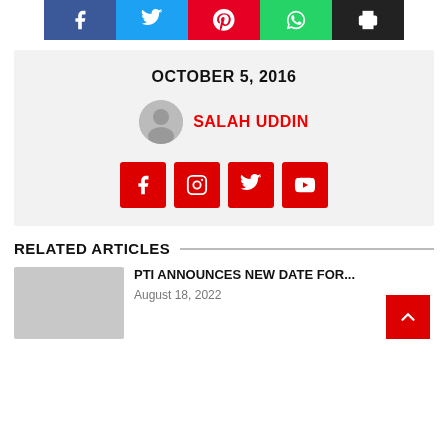[Figure (other): Social share buttons row: Facebook (blue), Twitter (light blue), Pinterest (red), WhatsApp (green), Print (dark/black)]
OCTOBER 5, 2016
SALAH UDDIN
[Figure (other): Author social media icons: Facebook, Instagram, Twitter, YouTube — all red square buttons]
RELATED ARTICLES
PTI ANNOUNCES NEW DATE FOR...
August 18, 2022